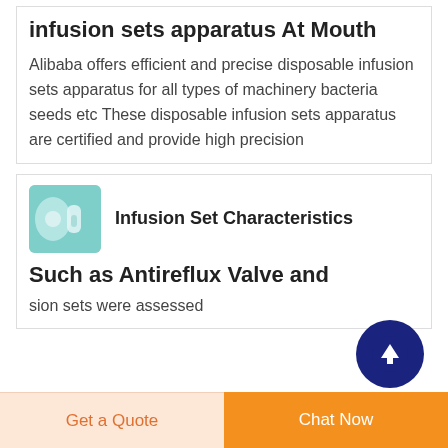infusion sets apparatus At Mouth
Alibaba offers efficient and precise disposable infusion sets apparatus for all types of machinery bacteria seeds etc These disposable infusion sets apparatus are certified and provide high precision
[Figure (photo): Small thumbnail image of an infusion set component on teal/green background]
Infusion Set Characteristics
Such as Antireflux Valve and
sion sets were assessed
Get a Quote  Chat Now